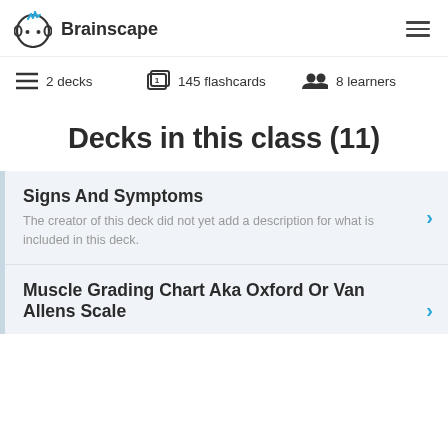[Figure (logo): Brainscape logo with stylized brain/face icon in blue and dark, next to the text Brainscape]
2 decks   145 flashcards   8 learners
Decks in this class (11)
Signs And Symptoms
The creator of this deck did not yet add a description for what is included in this deck.
Muscle Grading Chart Aka Oxford Or Van Allens Scale